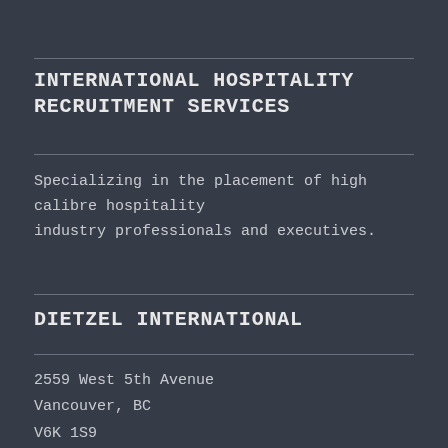INTERNATIONAL HOSPITALITY RECRUITMENT SERVICES
Specializing in the placement of high calibre hospitality industry professionals and executives.
DIETZEL INTERNATIONAL
2559 West 5th Avenue
Vancouver, BC
V6K 1S9
Canada